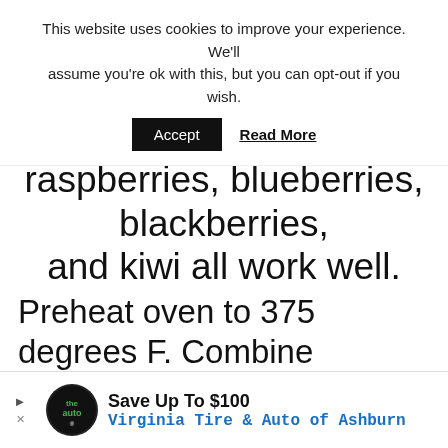This website uses cookies to improve your experience. We'll assume you're ok with this, but you can opt-out if you wish.
Accept   Read More
raspberries, blueberries, blackberries, and kiwi all work well.
Preheat oven to 375 degrees F. Combine graham cracker crumbs, brown sugar and melted butter. Press mix firmly onto bottom and sides of 9" tart pan or pie plate. Bake 8 minutes.
[Figure (screenshot): Advertisement banner: Save Up To $100 Virginia Tire & Auto of Ashburn with logo and navigation arrow icon]